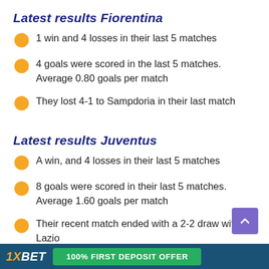Latest results Fiorentina
1 win and 4 losses in their last 5 matches
4 goals were scored in the last 5 matches. Average 0.80 goals per match
They lost 4-1 to Sampdoria in their last match
Latest results Juventus
A win, and 4 losses in their last 5 matches
8 goals were scored in their last 5 matches. Average 1.60 goals per match
Their recent match ended with a 2-2 draw with Lazio
1XBET   100% FIRST DEPOSIT OFFER